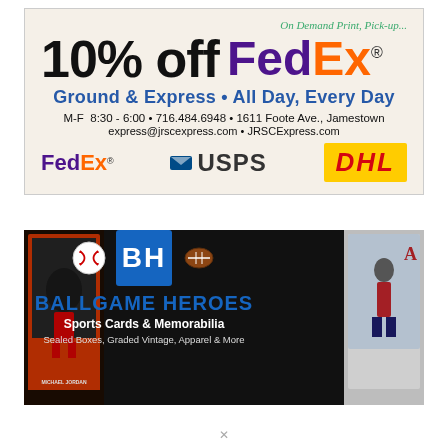[Figure (infographic): FedEx shipping advertisement: 10% off FedEx Ground & Express All Day Every Day. M-F 8:30–6:00 • 716.484.6948 • 1611 Foote Ave., Jamestown. express@jrscexpress.com • JRSCExpress.com. Shows FedEx, USPS, and DHL logos.]
[Figure (infographic): Ballgame Heroes Sports Cards & Memorabilia advertisement. Blue BH logo square flanked by baseball and football icons. Text: BALLGAME HEROES, Sports Cards & Memorabilia, Sealed Boxes, Graded Vintage, Apparel & More. Background shows Michael Jordan and baseball player trading cards.]
X